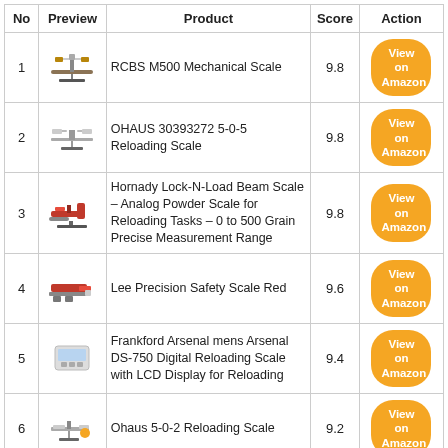| No | Preview | Product | Score | Action |
| --- | --- | --- | --- | --- |
| 1 | [image] | RCBS M500 Mechanical Scale | 9.8 | View on Amazon |
| 2 | [image] | OHAUS 30393272 5-0-5 Reloading Scale | 9.8 | View on Amazon |
| 3 | [image] | Hornady Lock-N-Load Beam Scale – Analog Powder Scale for Reloading Tasks – 0 to 500 Grain Precise Measurement Range | 9.8 | View on Amazon |
| 4 | [image] | Lee Precision Safety Scale Red | 9.6 | View on Amazon |
| 5 | [image] | Frankford Arsenal mens Arsenal DS-750 Digital Reloading Scale with LCD Display for Reloading | 9.4 | View on Amazon |
| 6 | [image] | Ohaus 5-0-2 Reloading Scale | 9.2 | View on Amazon |
| 7 | [image] | Frankford Arsenal Platinum Series Precision Scale with LCD Display | 9.2 | View on Amazon |
| 8 | [image] | J-MART Weight 1g 2g 5g 10g 20g… |  |  |